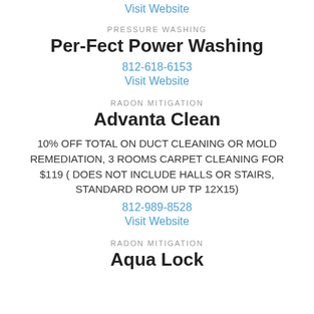Visit Website
PRESSURE WASHING
Per-Fect Power Washing
812-618-6153
Visit Website
RADON MITIGATION
Advanta Clean
10% OFF TOTAL ON DUCT CLEANING OR MOLD REMEDIATION, 3 ROOMS CARPET CLEANING FOR $119 ( DOES NOT INCLUDE HALLS OR STAIRS, STANDARD ROOM UP TP 12X15)
812-989-8528
Visit Website
RADON MITIGATION
Aqua Lock